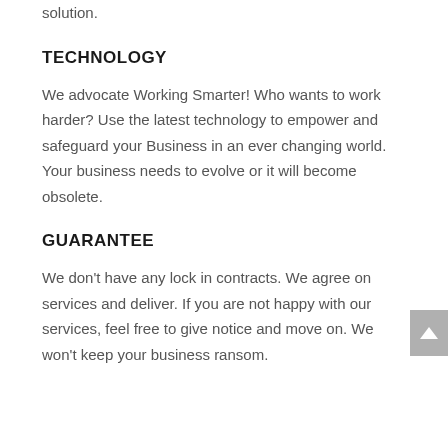solution.
TECHNOLOGY
We advocate Working Smarter! Who wants to work harder? Use the latest technology to empower and safeguard your Business in an ever changing world. Your business needs to evolve or it will become obsolete.
GUARANTEE
We don't have any lock in contracts. We agree on services and deliver. If you are not happy with our services, feel free to give notice and move on. We won't keep your business ransom.